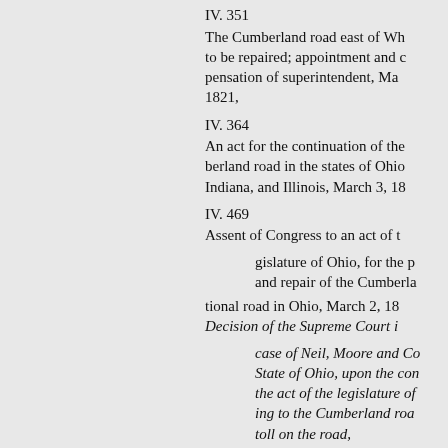IV. 351
The Cumberland road east of Wh to be repaired; appointment and compensation of superintendent, March 1821,
IV. 364
An act for the continuation of the berland road in the states of Ohio, Indiana, and Illinois, March 3, 18
IV. 469
Assent of Congress to an act of the gislature of Ohio, for the preservation and repair of the Cumberland tional road in Ohio, March 2, 183
Decision of the Supreme Court in the case of Neil, Moore and Co. vs. State of Ohio, upon the constitutionality of the act of the legislature of Ohio, relating to the Cumberland road, levying toll on the road,